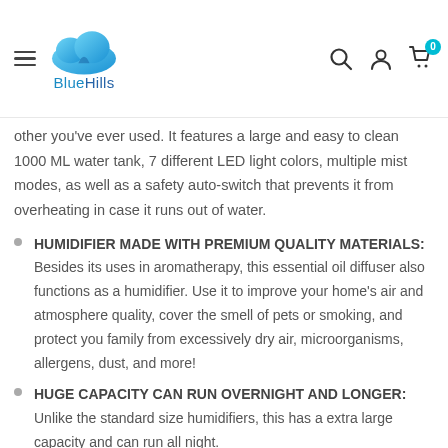BlueHills (navigation header with hamburger menu, logo, search, account, and cart icons)
other you've ever used. It features a large and easy to clean 1000 ML water tank, 7 different LED light colors, multiple mist modes, as well as a safety auto-switch that prevents it from overheating in case it runs out of water.
HUMIDIFIER MADE WITH PREMIUM QUALITY MATERIALS: Besides its uses in aromatherapy, this essential oil diffuser also functions as a humidifier. Use it to improve your home's air and atmosphere quality, cover the smell of pets or smoking, and protect you family from excessively dry air, microorganisms, allergens, dust, and more!
HUGE CAPACITY CAN RUN OVERNIGHT AND LONGER: Unlike the standard size humidifiers, this has a extra large capacity and can run all night.
TIMER OPTIONS, REMOTE, VARIABLE HIGH OR LOW MIST